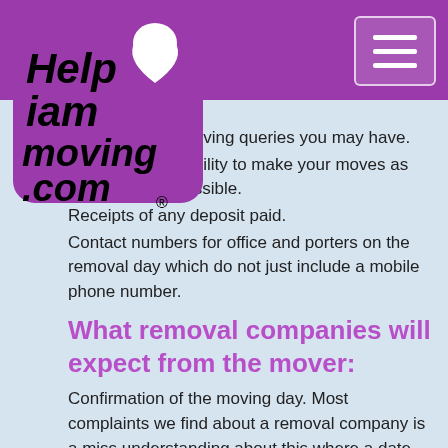[Figure (logo): Help I am moving .com logo — purple square with white heart, bold italic text]
nd handle any moving queries you may have.
Politeness and ability to make your moves as stress free as possible.
Receipts of any deposit paid.
Contact numbers for office and porters on the removal day which do not just include a mobile phone number.
What removal companies will expect from the mover:
Confirmation of the moving day. Most complaints we find about a removal company is a miss understanding about this where a date has been penciled in but not yet confirmed.
Being organized and already packed up if the removal company is not doing your packing for you.
Access to the home, and the ability to park a removal van